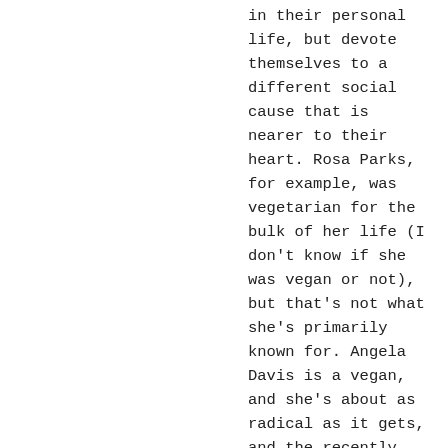in their personal life, but devote themselves to a different social cause that is nearer to their heart. Rosa Parks, for example, was vegetarian for the bulk of her life (I don't know if she was vegan or not), but that's not what she's primarily known for. Angela Davis is a vegan, and she's about as radical as it gets, and the recently deceased Prince was vegan as well (he even wrote an